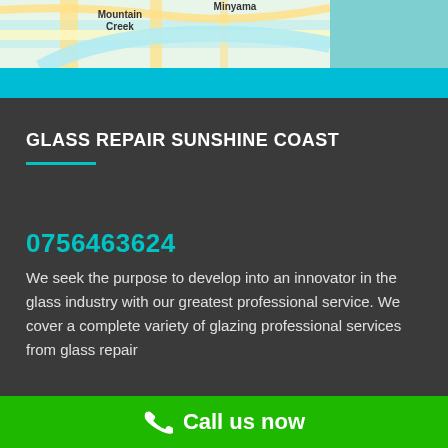[Figure (map): Google Maps screenshot showing Mountain Creek and Minyama areas on the Sunshine Coast, with roads and water features visible]
GLASS REPAIR SUNSHINE COAST
0756463624
We seek the purpose to develop into an innovator in the glass industry with our greatest professional service. We cover a complete variety of glazing professional services from glass repair
Call us now